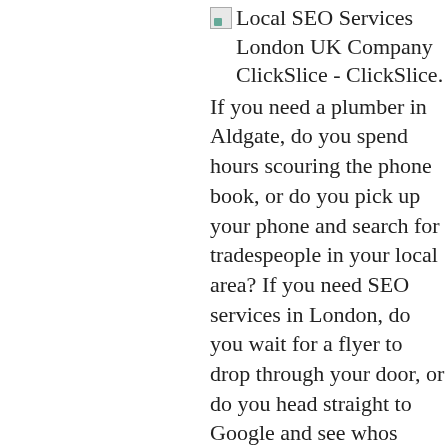Local SEO Services London UK Company ClickSlice - ClickSlice.
If you need a plumber in Aldgate, do you spend hours scouring the phone book, or do you pick up your phone and search for tradespeople in your local area? If you need SEO services in London, do you wait for a flyer to drop through your door, or do you head straight to Google and see whos based in your town or city? Studies have shown that 80 of people use the internet when they need to find a product or service from a local supplier. Its quicker and easier for customers to use search engines to find what theyre looking for. So, we can safely say that if you dont have a strong presence in Google, Bing and the other frequently used search engines, youll struggle to generate exposure for your business and make those vital